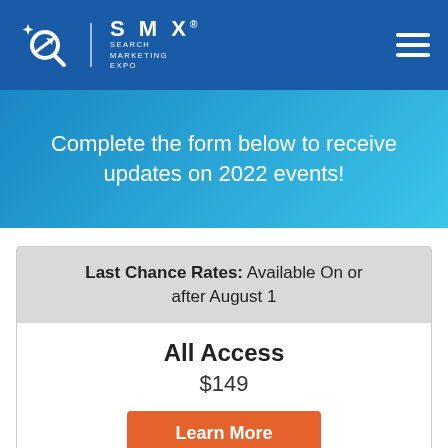[Figure (logo): SMX Search Marketing Expo logo with magnifying glass icon and navigation bar with hamburger menu]
Complete the form below to receive updates on 2022 events!
| Last Chance Rates: Available On or after August 1 |
| --- |
| All Access | $149 | Learn More |
[Figure (other): Best Value! banner (partially visible at bottom of page)]